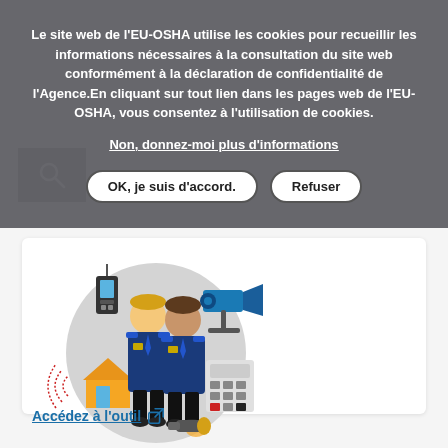Le site web de l'EU-OSHA utilise les cookies pour recueillir les informations nécessaires à la consultation du site web conformément à la déclaration de confidentialité de l'Agence.En cliquant sur tout lien dans les pages web de l'EU-OSHA, vous consentez à l'utilisation de cookies.
Non, donnez-moi plus d'informations
OK, je suis d'accord.
Refuser
[Figure (illustration): Illustration showing two security guards in blue uniforms, a walkie-talkie radio, a CCTV camera, a house with wireless signal, an alarm keypad, and a flashlight, all on a grey circular background.]
Accédez à l'outil